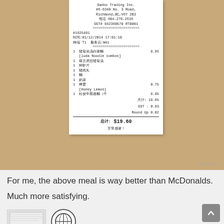[Figure (photo): Photo of a restaurant receipt from Sanbo Trading Inc., placed on a wooden table surface. Receipt shows items ordered including Luda Noodle combos and Honey Lemon drink, with a total of $19.60.]
For me, the above meal is way better than McDonalds. Much more satisfying.
[Figure (photo): Thumbnail images of what appears to be another receipt and a circular logo/icon at the bottom of the page.]